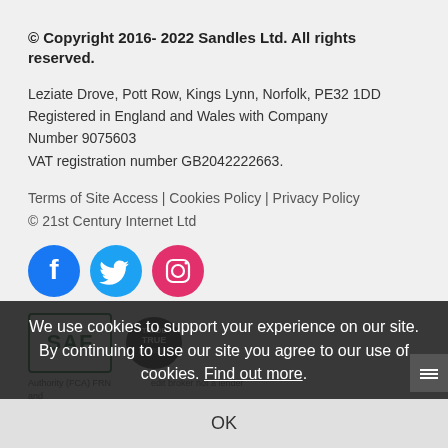© Copyright 2016- 2022 Sandles Ltd. All rights reserved.
Leziate Drove, Pott Row, Kings Lynn, Norfolk, PE32 1DD
Registered in England and Wales with Company Number 9075603
VAT registration number GB2042222663.
Terms of Site Access | Cookies Policy | Privacy Policy
© 21st Century Internet Ltd
[Figure (illustration): Social media icons: Facebook (blue circle with white f), Twitter (blue circle with white bird), Instagram (pink/red circle with white camera)]
[Figure (logo): SAF trust badge (green border box with SAF text) and a Trade member shield badge]
We use cookies to support your experience on our site. By continuing to use our site you agree to our use of cookies. Find out more.
OK